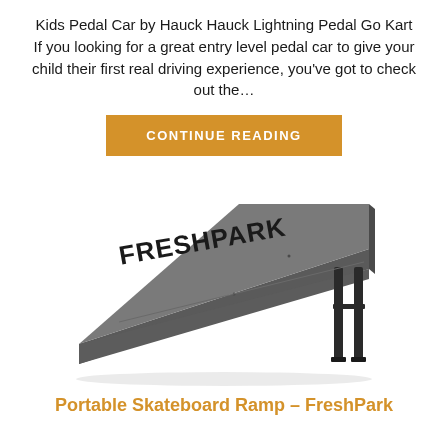Kids Pedal Car by Hauck Hauck Lightning Pedal Go Kart If you looking for a great entry level pedal car to give your child their first real driving experience, you've got to check out the…
CONTINUE READING
[Figure (photo): A FreshPark portable skateboard ramp, gray metal, angled from lower-left to upper-right, with FRESHPARK branding in large black letters on the top surface, supported by black metal legs on the right side.]
Portable Skateboard Ramp – FreshPark